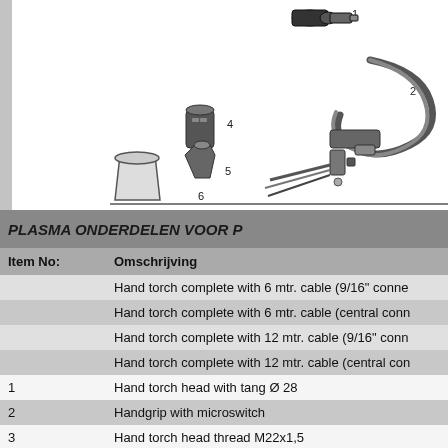[Figure (engineering-diagram): Exploded diagram of a plasma torch assembly with numbered parts 1-6. Parts include torch head (1), handgrip/cable assembly (2), and smaller components (4, 5, 6) shown disassembled.]
PLASMA ONDERDELEN VOOR P
| Item No: | Omschrijving |
| --- | --- |
|  | Hand torch complete with 6 mtr. cable (9/16" conne |
|  | Hand torch complete with 6 mtr. cable (central conn |
|  | Hand torch complete with 12 mtr. cable (9/16" conn |
|  | Hand torch complete with 12 mtr. cable (central con |
| 1 | Hand torch head with tang Ø 28 |
| 2 | Handgrip with microswitch |
| 3 | Hand torch head thread M22x1,5 |
| 4 | Electrode - Hf. |
| 5 | Tip Ø 1.0 |
|  | Tip Ø 1.3 |
|  | Tip Ø 1.5 |